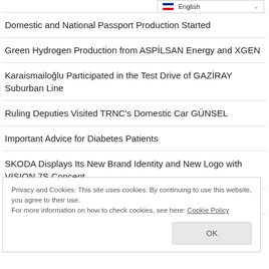[Figure (screenshot): Language selector dropdown showing English with flag icon and chevron]
Domestic and National Passport Production Started
Green Hydrogen Production from ASPİLSAN Energy and XGEN
Karaismailoğlu Participated in the Test Drive of GAZİRAY Suburban Line
Ruling Deputies Visited TRNC's Domestic Car GÜNSEL
Important Advice for Diabetes Patients
SKODA Displays Its New Brand Identity and New Logo with VISION 7S Concept
Turkish Republic of Western Thrace is 109 Years Old
Privacy and Cookies: This site uses cookies. By continuing to use this website, you agree to their use. For more information on how to check cookies, see here: Cookie Policy
OK